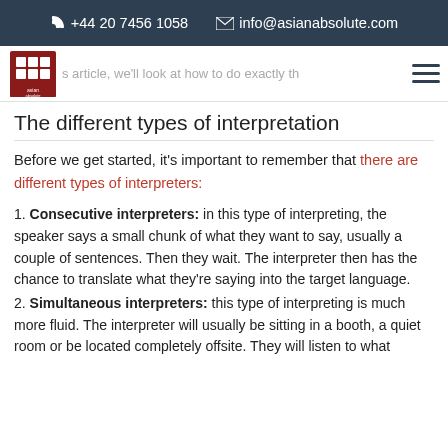+44 20 7456 1058   info@asianabsolute.com
[Figure (logo): Asian Absolute logo — red square grid icon above text 'asian absolute']
s article, we'll look at how to do exactly th
The different types of interpretation
Before we get started, it's important to remember that there are different types of interpreters:
1. Consecutive interpreters: in this type of interpreting, the speaker says a small chunk of what they want to say, usually a couple of sentences. Then they wait. The interpreter then has the chance to translate what they're saying into the target language.
2. Simultaneous interpreters: this type of interpreting is much more fluid. The interpreter will usually be sitting in a booth, a quiet room or be located completely offsite. They will listen to what